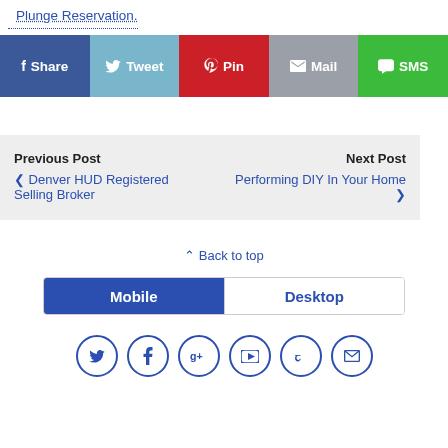Plunge Reservation.
[Figure (infographic): Social share buttons: Share (Facebook, blue), Tweet (Twitter, light blue), Pin (Pinterest, red), Mail (grey), SMS (green)]
Previous Post
< Denver HUD Registered Selling Broker
Next Post
Performing DIY In Your Home >
^ Back to top
[Figure (infographic): Mobile/Desktop toggle bar with Mobile selected (blue) and Desktop unselected (white)]
[Figure (infographic): Social media icon circles: Twitter, Facebook, Google+, YouTube, Yelp, Mail]